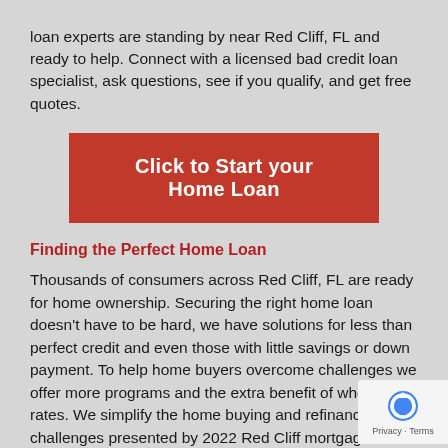loan experts are standing by near Red Cliff, FL and ready to help.  Connect with a licensed bad credit loan specialist, ask questions, see if you qualify, and get free quotes.
[Figure (other): Red call-to-action button with white text: Click to Start your Home Loan]
Finding the Perfect Home Loan
Thousands of consumers across Red Cliff, FL are ready for home ownership.  Securing the right home loan doesn't have to be hard, we have solutions for less than perfect credit and even those with little savings or down payment. To help home buyers overcome challenges we offer more programs and the extra benefit of wholesale rates.  We simplify the home buying and refinancing challenges presented by 2022 Red Cliff mortgage guidelines. O mission is to get you approved even with bad credit into your Red Cliff home with payments you can afford.